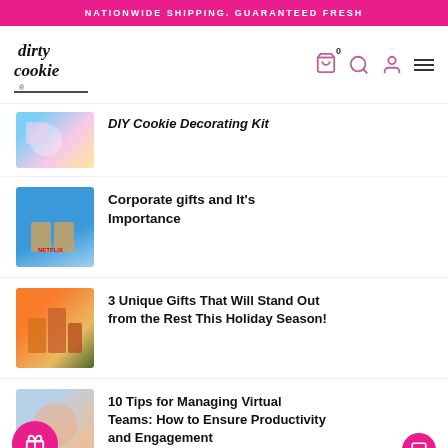NATIONWIDE SHIPPING. GUARANTEED FRESH
[Figure (logo): Dirty Cookie logo in handwritten style]
DIY Cookie Decorating Kit
Corporate gifts and It's Importance
3 Unique Gifts That Will Stand Out from the Rest This Holiday Season!
10 Tips for Managing Virtual Teams: How to Ensure Productivity and Engagement